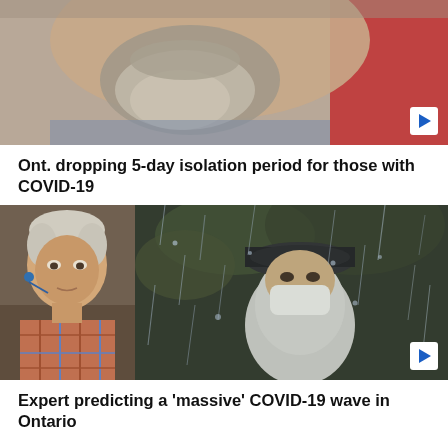[Figure (photo): Close-up of lower face of a man with grey beard and moustache, with a red background on the right side. Play button overlay in bottom right corner.]
Ont. dropping 5-day isolation period for those with COVID-19
[Figure (photo): Two photos side by side: left shows an older man with white hair wearing a plaid shirt with earbuds, appearing on a video call; right shows a person wearing a mask and cap viewed through a rain-covered window. Play button overlay in bottom right corner.]
Expert predicting a 'massive' COVID-19 wave in Ontario